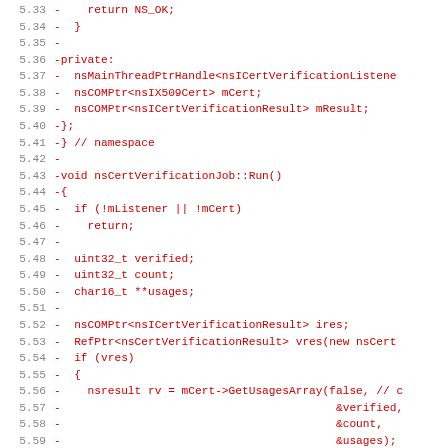[Figure (screenshot): Code diff showing deleted lines (red) in C++ source file, lines 5.33 through 5.65, showing class private members and nsCertVerificationJob::Run() method implementation]